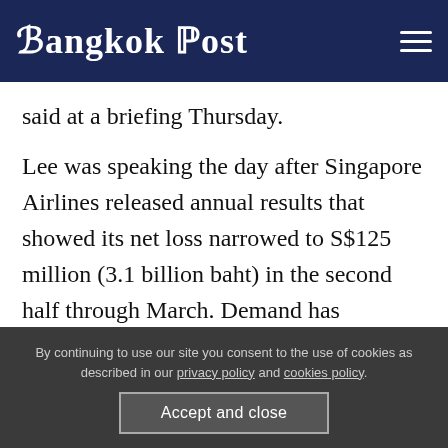Bangkok Post
said at a briefing Thursday.
Lee was speaking the day after Singapore Airlines released annual results that showed its net loss narrowed to S$125 million (3.1 billion baht) in the second half through March. Demand has improved in all cabin classes as key markets -- apart from China -- remove travel curbs, the airline said, a point echoed by Lee.
By continuing to use our site you consent to the use of cookies as described in our privacy policy and cookies policy.
Accept and close